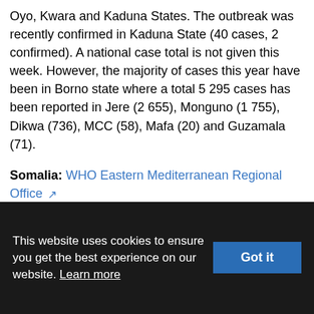Oyo, Kwara and Kaduna States. The outbreak was recently confirmed in Kaduna State (40 cases, 2 confirmed). A national case total is not given this week. However, the majority of cases this year have been in Borno state where a total 5 295 cases has been reported in Jere (2 655), Monguno (1 755), Dikwa (736), MCC (58), Mafa (20) and Guzamala (71).
Somalia: WHO Eastern Mediterranean Regional Office reported on 5 November that the total number of cases in the current outbreak is 77 783 (including 1 159 deaths) . This
This website uses cookies to ensure you get the best experience on our website. Learn more